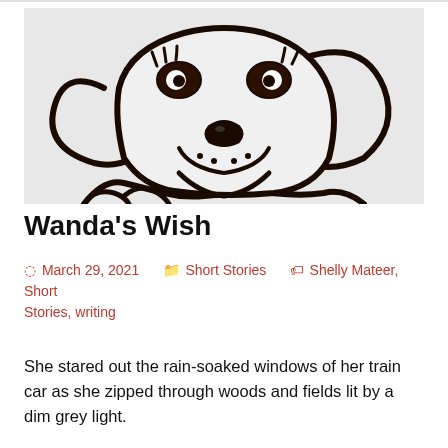[Figure (illustration): A simple black line drawing of a dog's face and upper body on a light grey background. The dog has large expressive eyes with lashes, a round nose, freckles/spots on the muzzle, and floppy ears. Drawn in a loose, sketchy style.]
Wanda's Wish
March 29, 2021   Short Stories   Shelly Mateer, Short Stories, writing
She stared out the rain-soaked windows of her train car as she zipped through woods and fields lit by a dim grey light.